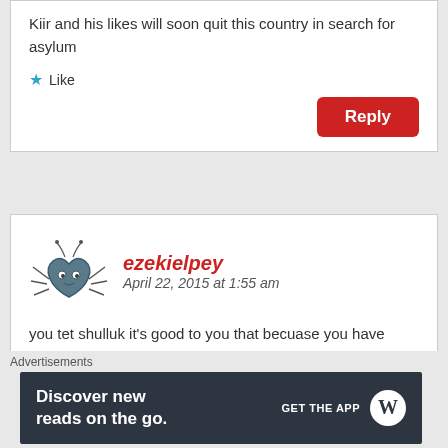Kiir and his likes will soon quit this country in search for asylum
Like
Reply
ezekielpey
April 22, 2015 at 1:55 am
you tet shulluk it’s good to you that becuase you have fuoght dinka
Like
Advertisements
Discover new reads on the go.
GET THE APP